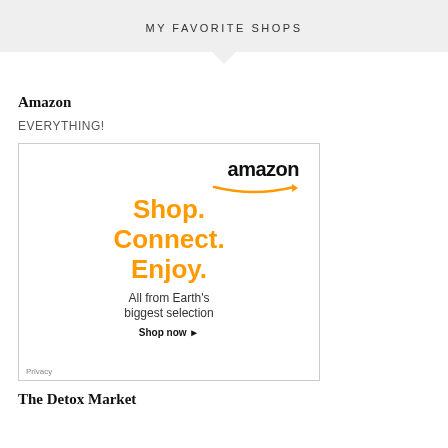MY FAVORITE SHOPS
Amazon
EVERYTHING!
[Figure (screenshot): Amazon advertisement banner showing 'amazon' logo with orange smile arrow, bold orange text 'Shop. Connect. Enjoy.' and smaller text 'All from Earth's biggest selection' with 'Shop now ▸' link and a 'Privacy' label in the bottom left corner.]
The Detox Market